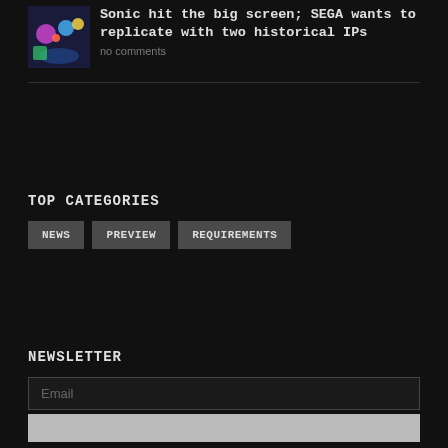[Figure (illustration): Colorful anime/game-style thumbnail image with characters]
Sonic hit the big screen; SEGA wants to replicate with two historical IPs
no comments
TOP CATEGORIES
NEWS
PREVIEW
REQUIREMENTS
NEWSLETTER
Email